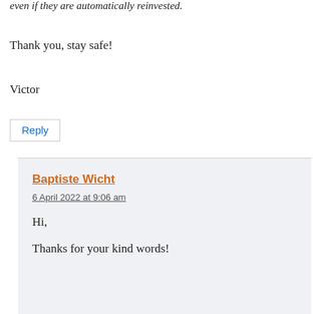even if they are automatically reinvested.
Thank you, stay safe!
Victor
Reply
Baptiste Wicht
6 April 2022 at 9:06 am
Hi,
Thanks for your kind words!